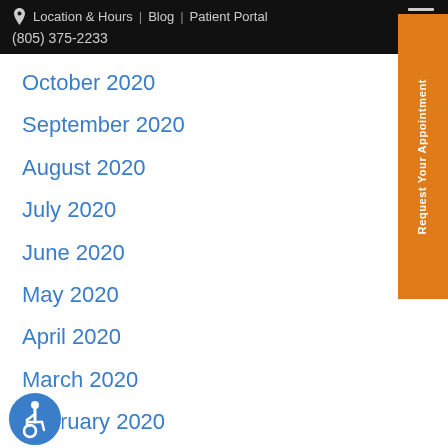Location & Hours | Blog | Patient Portal
(805) 375-2233
October 2020
September 2020
August 2020
July 2020
June 2020
May 2020
April 2020
March 2020
February 2020
[Figure (other): Orange vertical sidebar button reading 'Request Your Appointment']
[Figure (other): Blue circular accessibility icon (wheelchair symbol) in bottom left corner]